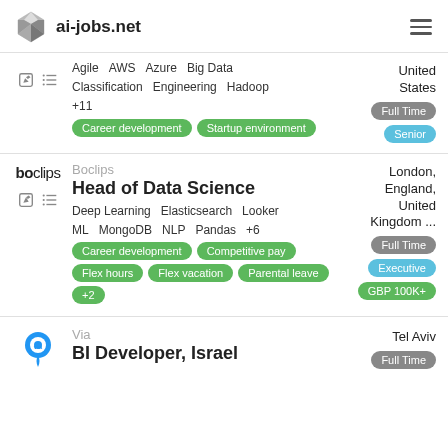ai-jobs.net
Agile  AWS  Azure  Big Data  Classification  Engineering  Hadoop  +11 | Career development  Startup environment | United States | Full Time | Senior
Boclips | Head of Data Science | Deep Learning  Elasticsearch  Looker  ML  MongoDB  NLP  Pandas  +6 | Career development  Competitive pay  Flex hours  Flex vacation  Parental leave  +2 | London, England, United Kingdom ... | Full Time | Executive | GBP 100K+
Via | BI Developer, Israel | Tel Aviv | Full Time